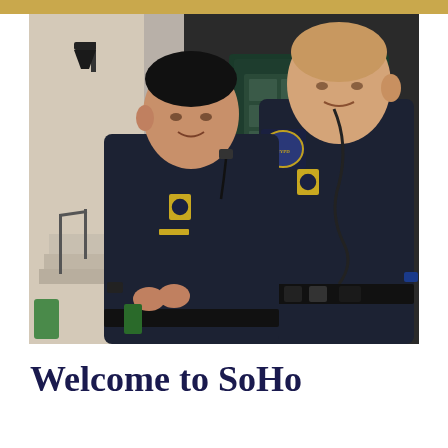[Figure (photo): Two NYPD police officers in full uniform (dark navy blue) smiling and posing together in front of a building entrance with a dark green door. The officer on the left is of Asian descent and shorter, and the one on the right is taller and bald. Both wear NYPD badges and the officer on the right has an NYPD shoulder patch. They are standing outside what appears to be a police precinct or public building.]
Welcome to SoHo